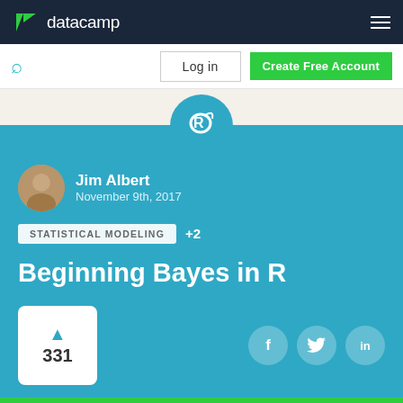datacamp
[Figure (logo): DataCamp logo with stylized D and C icon in green, white text 'datacamp' on dark navy background]
[Figure (screenshot): Navigation bar with search icon, Log in button, and Create Free Account green button]
[Figure (logo): R language logo in white on teal circle]
Jim Albert
November 9th, 2017
STATISTICAL MODELING +2
Beginning Bayes in R
331
[Figure (infographic): Social share buttons for Facebook, Twitter, LinkedIn as white circles]